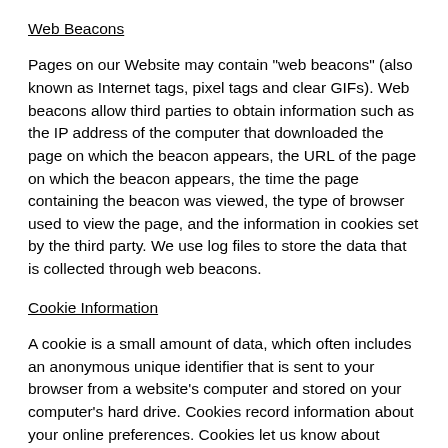Web Beacons
Pages on our Website may contain "web beacons" (also known as Internet tags, pixel tags and clear GIFs). Web beacons allow third parties to obtain information such as the IP address of the computer that downloaded the page on which the beacon appears, the URL of the page on which the beacon appears, the time the page containing the beacon was viewed, the type of browser used to view the page, and the information in cookies set by the third party. We use log files to store the data that is collected through web beacons.
Cookie Information
A cookie is a small amount of data, which often includes an anonymous unique identifier that is sent to your browser from a website's computer and stored on your computer's hard drive. Cookies record information about your online preferences. Cookies let us know about repeat visitors and if we are delivering quality products and services to our Clients. We may also use cookies to identify which websites our repeat visitors...